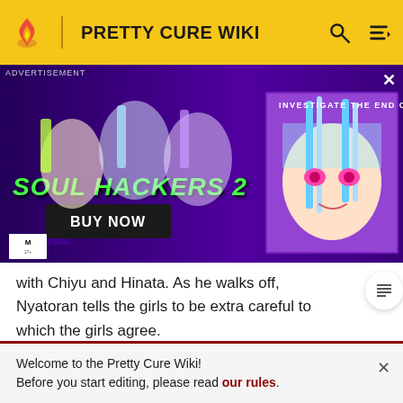PRETTY CURE WIKI
[Figure (screenshot): Advertisement banner for Soul Hackers 2 game by Atlus, showing anime characters on a purple background with text 'INVESTIGATE THE END OF THE WORLD', 'SOUL HACKERS 2', 'BUY NOW', and 'ATLUS' logo]
with Chiyu and Hinata. As he walks off, Nyatoran tells the girls to be extra careful to which the girls agree.
Characters
Pretty Cure
Welcome to the Pretty Cure Wiki!
Before you start editing, please read our rules.